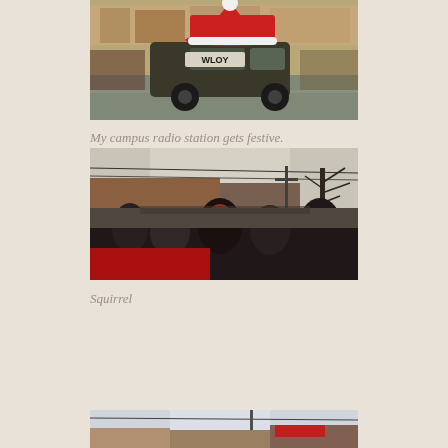[Figure (photo): A dark van with WLOY radio station branding and a large red Santa hat on top, driving down a street lined with storefronts and spectators during a festive parade.]
My campus radio station gets festive.
[Figure (photo): A street parade scene with crowds of people, some wearing red accessories, lining a main street with storefronts and a bare tree visible in the background.]
Squirrel
[Figure (photo): Partial view of a street scene with storefronts and sky, appearing to be cut off at the bottom of the page.]